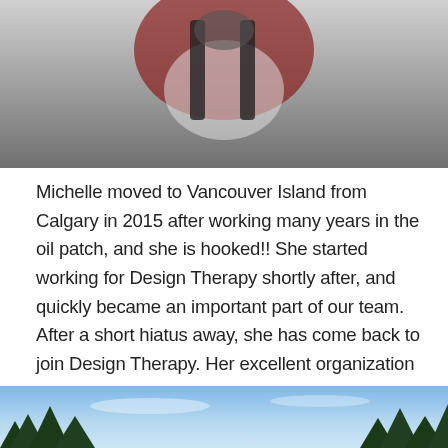[Figure (photo): Partial photo of a person wearing outdoor/climbing gear with harness straps, red jacket, white shirt visible, cropped at the top of the page]
Michelle moved to Vancouver Island from Calgary in 2015 after working many years in the oil patch, and she is hooked!! She started working for Design Therapy shortly after, and quickly became an important part of our team. After a short hiatus away, she has come back to join Design Therapy. Her excellent organization skills and love for customer service make her the perfect addition to our team. She has two great adult boys back in Alberta, whom she tries to visit often. When she is not organizing our special orders or pricing new inventory, you will find Michelle in the woods running or on the water paddling. She is also active in the community with volunteering for various groups.
[Figure (photo): Partial bottom photo showing a blue sky with light clouds and dark green conifer tree tops at the bottom edge]